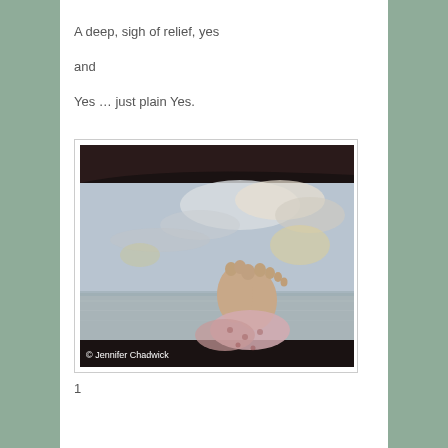A deep, sigh of relief, yes
and
Yes … just plain Yes.
[Figure (photo): A relaxing scene viewed from inside a vehicle or vessel through a large window. Bare feet propped up, resting on the windowsill or dashboard. Outside is a calm ocean horizon with a cloudy sunset sky. Dark silhouette of the roof frame is visible at the top. Photo credit: © Jennifer Chadwick]
1